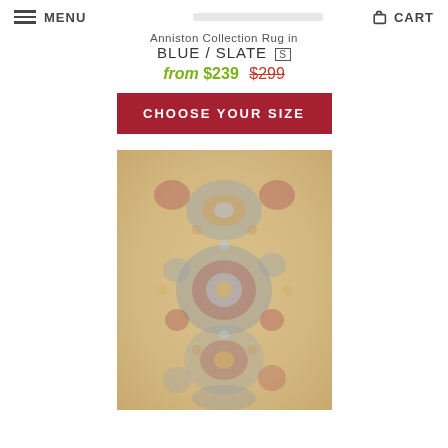MENU   CART
Anniston Collection Rug in BLUE / SLATE [S]
from $239  $299
CHOOSE YOUR SIZE
[Figure (photo): Decorative rug with distressed floral/medallion pattern in muted blue, gold, red, and beige tones on a cream background.]